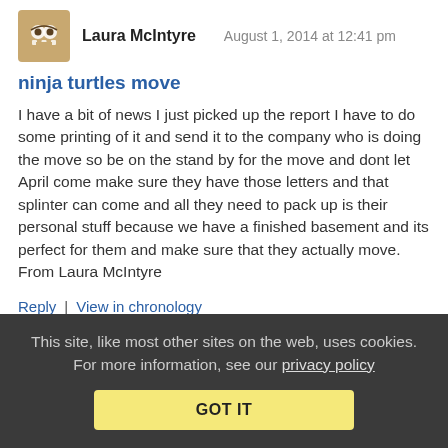Laura McIntyre  August 1, 2014 at 12:41 pm
ninja turtles move
I have a bit of news I just picked up the report I have to do some printing of it and send it to the company who is doing the move so be on the stand by for the move and dont let April come make sure they have those letters and that splinter can come and all they need to pack up is their personal stuff because we have a finished basement and its perfect for them and make sure that they actually move. From Laura McIntyre
Reply | View in chronology
[Figure (infographic): Row of five icon buttons in rounded rectangle boxes]
This site, like most other sites on the web, uses cookies. For more information, see our privacy policy
GOT IT